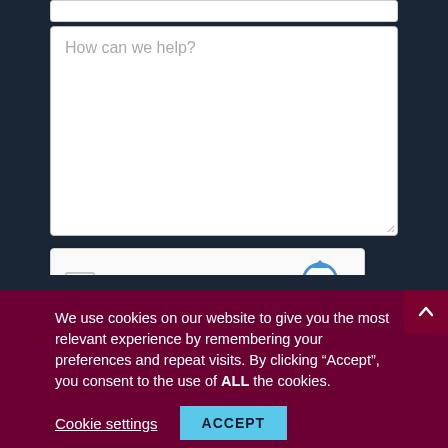[Figure (screenshot): Web contact form with text area showing placeholder 'How can we help?', a reCAPTCHA widget with checkbox and 'I'm not a robot' label, and a Submit button, all on a dark navy background.]
We use cookies on our website to give you the most relevant experience by remembering your preferences and repeat visits. By clicking “Accept”, you consent to the use of ALL the cookies.
Cookie settings
ACCEPT